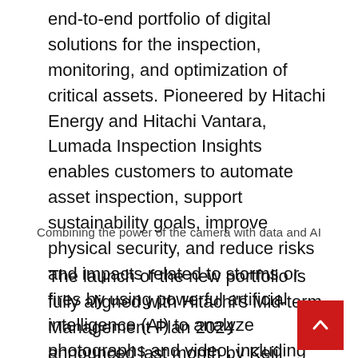end-to-end portfolio of digital solutions for the inspection, monitoring, and optimization of critical assets. Pioneered by Hitachi Energy and Hitachi Vantara, Lumada Inspection Insights enables customers to automate asset inspection, support sustainability goals, improve physical security, and reduce risks and impacts related to storms or fires by using powerful artificial intelligence (AI) to analyze photographs and video, including LiDAR, thermal and satellite imagery.
Combining the power of the camera with data and AI
The launch of the new portfolio is fully aligned with Hitachi's Mid-term Management Plan 2024 announced last month by Keiji Kojima, President & CEO, Hitachi Ltd. In the Plan, Hitachi has set out its growth strategy